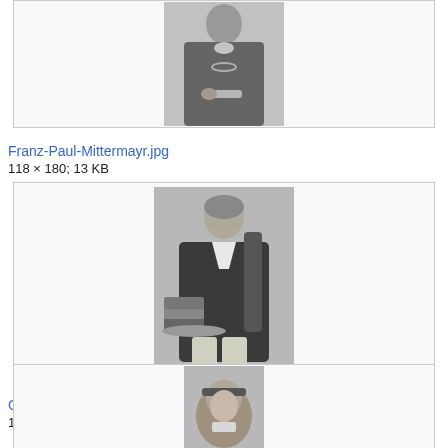[Figure (photo): Black and white portrait of Franz-Paul Mittermayr, a man in formal dark clothing holding a document, cropped at top]
Franz-Paul-Mittermayr.jpg
118 × 180; 13 KB
[Figure (photo): Black and white portrait of a man seated at a desk with books, wearing formal 18th century attire]
Gen champion 1 edited.jpg
1,600 × 1,628; 303 KB
[Figure (photo): Partially visible portrait photo at the bottom of the page, cropped]